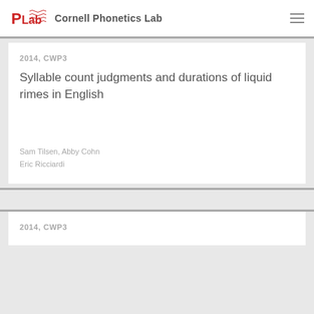Cornell Phonetics Lab
2014, CWP3
Syllable count judgments and durations of liquid rimes in English
Sam Tilsen, Abby Cohn
Eric Ricciardi
2014, CWP3